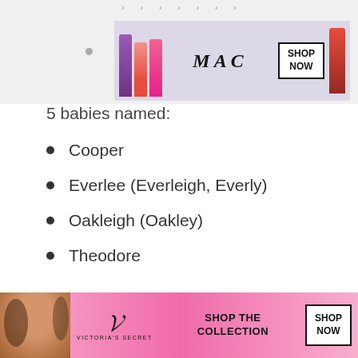[Figure (photo): MAC Cosmetics advertisement banner with lipsticks and SHOP NOW button]
5 babies named:
Cooper
Everlee (Everleigh, Everly)
Oakleigh (Oakley)
Theodore
4 babies named:
We use cookies on our website to give you the most relevant experience by remembering your preferences and repeat visits. By clicking “Accept”, you consent to the use of ALL the cookies.
Do not sell my personal information.
[Figure (photo): Victoria's Secret advertisement banner with model and SHOP THE COLLECTION / SHOP NOW button]